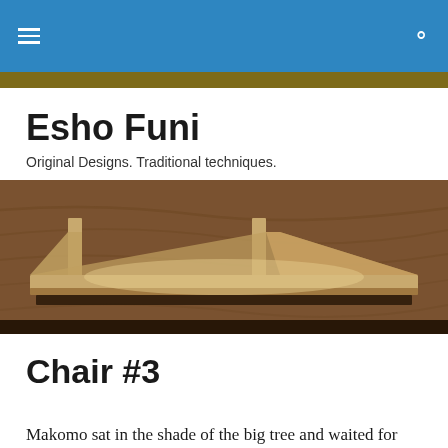Esho Funi — navigation bar with hamburger menu and search icon
Esho Funi
Original Designs. Traditional techniques.
[Figure (photo): A wooden chair or shelf structure photographed from the front on a wooden background. The piece appears to be a low wooden bench or chair with two vertical supports and a curved seat or shelf, lit from below to highlight the grain and form.]
Chair #3
Makomo sat in the shade of the big tree and waited for the boys to arrive. The ground had been swept clean and his